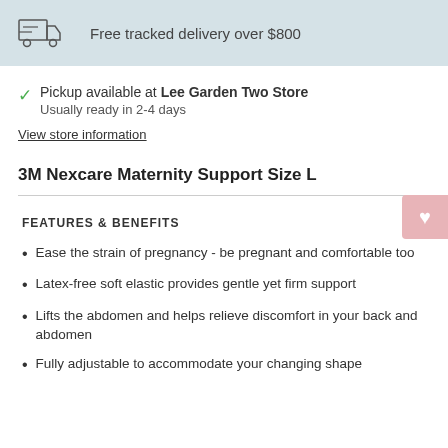Free tracked delivery over $800
Pickup available at Lee Garden Two Store
Usually ready in 2-4 days
View store information
3M Nexcare Maternity Support Size L
FEATURES & BENEFITS
Ease the strain of pregnancy - be pregnant and comfortable too
Latex-free soft elastic provides gentle yet firm support
Lifts the abdomen and helps relieve discomfort in your back and abdomen
Fully adjustable to accommodate your changing shape